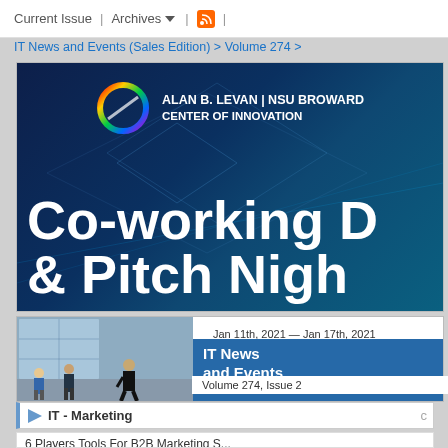Current Issue | Archives | [RSS] |
IT News and Events (Sales Edition) > Volume 274 >
[Figure (photo): Alan B. Levan NSU Broward Center of Innovation banner showing colorful circular logo and text 'Co-working D & Pitch Nigh' on dark blue tech background]
[Figure (photo): Photo of people standing in a modern office lobby with large windows]
Jan 11th, 2021 — Jan 17th, 2021
IT News and Events
Volume 274, Issue 2
IT - Marketing
6 Players Tools For B2B Marketing S...